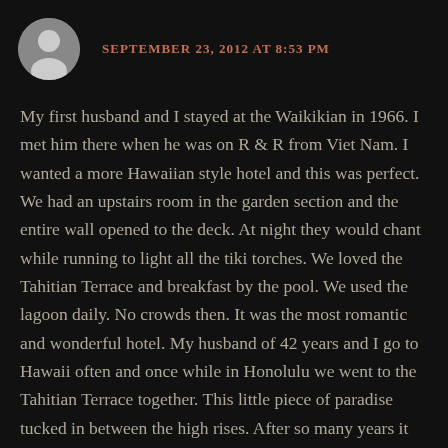SEPTEMBER 23, 2012 AT 8:53 PM
My first husband and I stayed at the Waikikian in 1966. I met him there when he was on R & R from Viet Nam. I wanted a more Hawaiian style hotel and this was perfect. We had an upstairs room in the garden section and the entire wall opened to the deck. At night they would chant while running to light all the tiki torches. We loved the Tahitian Terrace and breakfast by the pool. We used the lagoon daily. No crowds then. It was the most romantic and wonderful hotel. My husband of 42 years and I go to Hawaii often and once while in Honolulu we went to the Tahitian Terrace together. This little piece of paradise tucked in between the high rises. After so many years it was still wonderful. I felt very sad when I learned that it had been torn down. There isn't anyplace that can compare to the